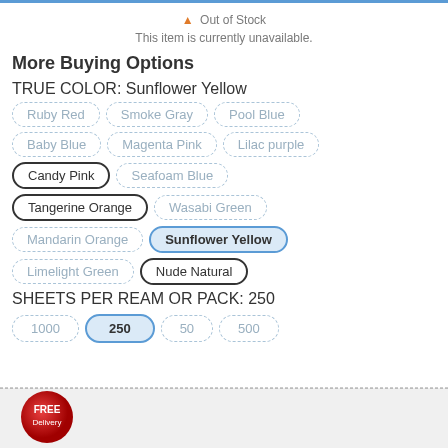Out of Stock
This item is currently unavailable.
More Buying Options
TRUE COLOR: Sunflower Yellow
Ruby Red
Smoke Gray
Pool Blue
Baby Blue
Magenta Pink
Lilac purple
Candy Pink
Seafoam Blue
Tangerine Orange
Wasabi Green
Mandarin Orange
Sunflower Yellow
Limelight Green
Nude Natural
SHEETS PER REAM OR PACK: 250
1000
250
50
500
[Figure (logo): Free Delivery badge - red circular badge with FREE and Delivery text]